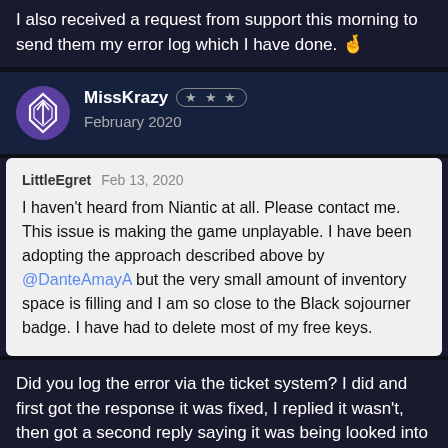I also received a request from support this morning to send them my error log which I have done. 🤞
MissKrazy ★★★ February 2020
LittleEgret  Feb 13, 2020
I haven't heard from Niantic at all. Please contact me. This issue is making the game unplayable. I have been adopting the approach described above by @DanteAmayA but the very small amount of inventory space is filling and I am so close to the Black sojourner badge. I have had to delete most of my free keys.
Did you log the error via the ticket system? I did and first got the response it was fixed, I replied it wasn't, then got a second reply saying it was being looked into but no time scale for a fix. Then 2 hours ago got a third message from them asking for a copy of my error report. (Which they tell you how to get from your